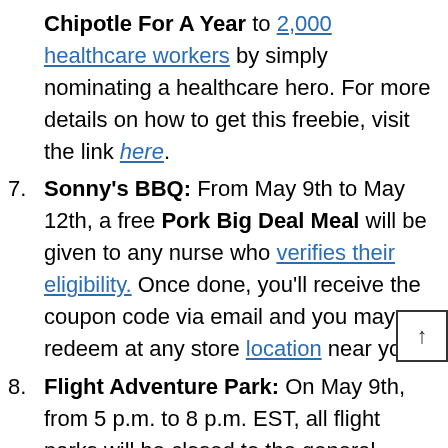Chipotle For A Year to 2,000 healthcare workers by simply nominating a healthcare hero. For more details on how to get this freebie, visit the link here.
7. Sonny's BBQ: From May 9th to May 12th, a free Pork Big Deal Meal will be given to any nurse who verifies their eligibility. Once done, you'll receive the coupon code via email and you may redeem at any store location near you.
8. Flight Adventure Park: On May 9th, from 5 p.m. to 8 p.m. EST, all flight parks will be closed to the general public and exclusively open to healthcare professionals and their immediate